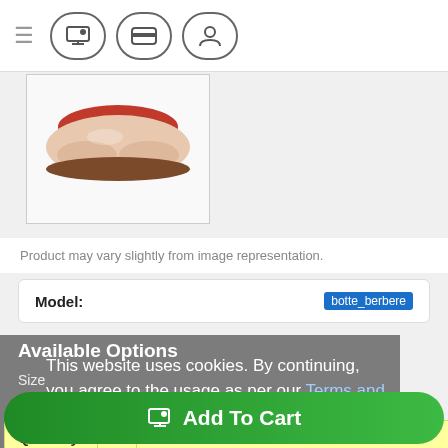[Figure (screenshot): E-commerce website screenshot showing navigation bar with hamburger menu, cart, payment, and account icons]
[Figure (photo): Product photo of beige/pink flat shoes/loafers with red accent, shown in a white bordered box]
Product may vary slightly from image representation.
| Model: | botte_berbere |
| --- | --- |
Available Options
Size
This website uses cookies. By continuing, you agree to the usage as per our Terms and conditions
--- Please Select ---
Quantity: 1
Continue
Add To Cart